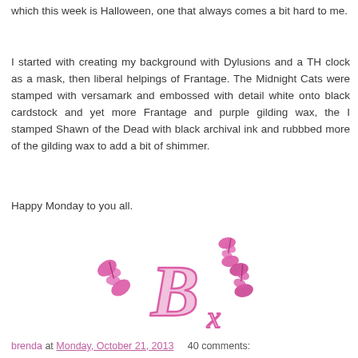which this week is Halloween, one that always comes a bit hard to me.
I started with creating my background with Dylusions and a TH clock as a mask, then liberal helpings of Frantage. The Midnight Cats were stamped with versamark and embossed with detail white onto black cardstock and yet more Frantage and purple gilding wax, the I stamped Shawn of the Dead with black archival ink and rubbbed more of the gilding wax to add a bit of shimmer.
Happy Monday to you all.
[Figure (illustration): Pink cursive signature with butterflies - stylized B with x and butterfly decorations in pink/magenta]
brenda at Monday, October 21, 2013    40 comments: